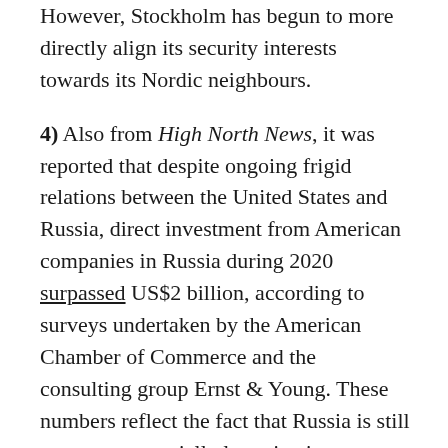However, Stockholm has begun to more directly align its security interests towards its Nordic neighbours.
4) Also from High North News, it was reported that despite ongoing frigid relations between the United States and Russia, direct investment from American companies in Russia during 2020 surpassed US$2 billion, according to surveys undertaken by the American Chamber of Commerce and the consulting group Ernst & Young. These numbers reflect the fact that Russia is still seen as a potentially lucrative investment area.
5) As the Greenlandic news organisation KNR detailed, Múte B. Egede, the Prime Minister of